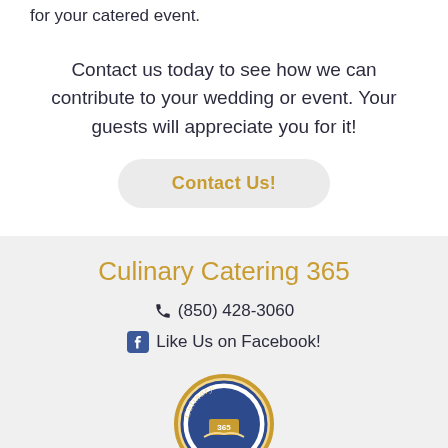for your catered event.
Contact us today to see how we can contribute to your wedding or event. Your guests will appreciate you for it!
Contact Us!
Culinary Catering 365
(850) 428-3060
Like Us on Facebook!
[Figure (logo): Culinary Catering 365 circular logo with gold border and blue/gold emblem]